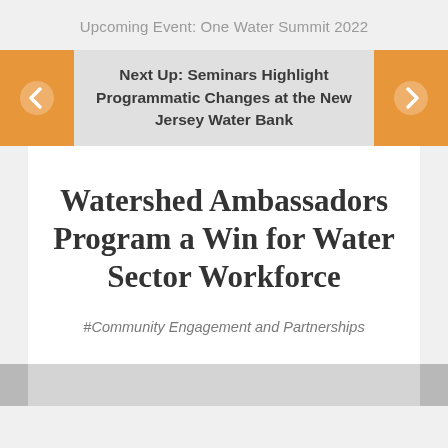Upcoming Event: One Water Summit 2022
Next Up: Seminars Highlight Programmatic Changes at the New Jersey Water Bank
Watershed Ambassadors Program a Win for Water Sector Workforce
#Community Engagement and Partnerships